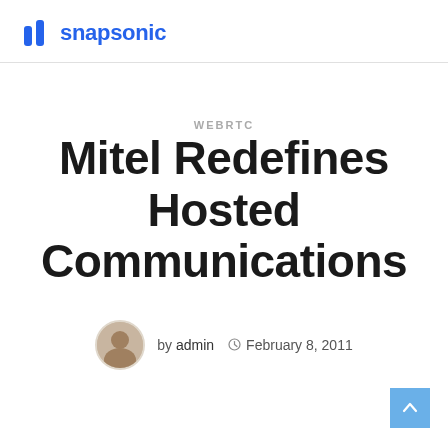snapsonic
WEBRTC
Mitel Redefines Hosted Communications
by admin  February 8, 2011